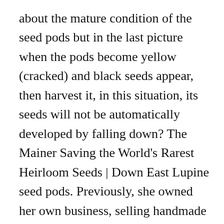about the mature condition of the seed pods but in the last picture when the pods become yellow (cracked) and black seeds appear, then harvest it, in this situation, its seeds will not be automatically developed by falling down? The Mainer Saving the World's Rarest Heirloom Seeds | Down East Lupine seed pods. Previously, she owned her own business, selling handmade items online, wholesale and at crafts fairs. Lupines produce such an abundance of seed pods, it is always easy to grow more and more plants. For spring sowing, scarification (or 'roughing up' the seed coating) is recommended for dried seeds, followed by 10 days of moist